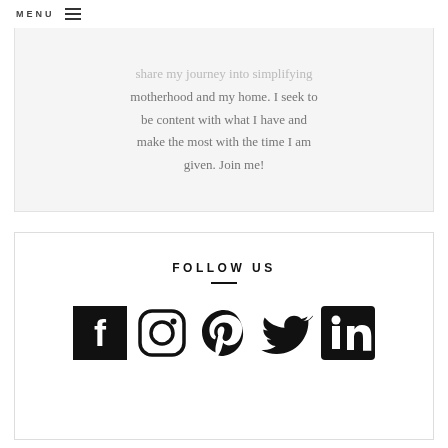MENU
share my journey into simplifying motherhood and my home. I seek to be content with what I have and make the most with the time I am given. Join me!
FOLLOW US
[Figure (infographic): Row of five social media icons: Facebook, Instagram, Pinterest, Twitter, LinkedIn]